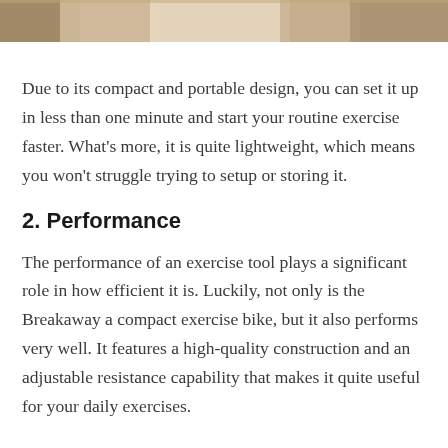[Figure (photo): Partial photo of a person using exercise equipment, cropped at top of page]
Due to its compact and portable design, you can set it up in less than one minute and start your routine exercise faster. What’s more, it is quite lightweight, which means you won’t struggle trying to setup or storing it.
2. Performance
The performance of an exercise tool plays a significant role in how efficient it is. Luckily, not only is the Breakaway a compact exercise bike, but it also performs very well. It features a high-quality construction and an adjustable resistance capability that makes it quite useful for your daily exercises.